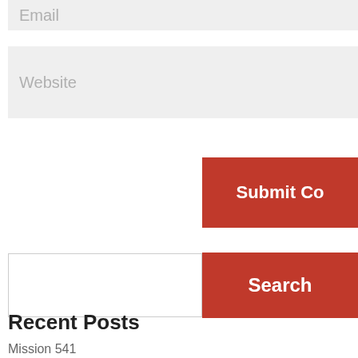Email
Website
Submit Co
Search
Recent Posts
Mission 541
mission 509